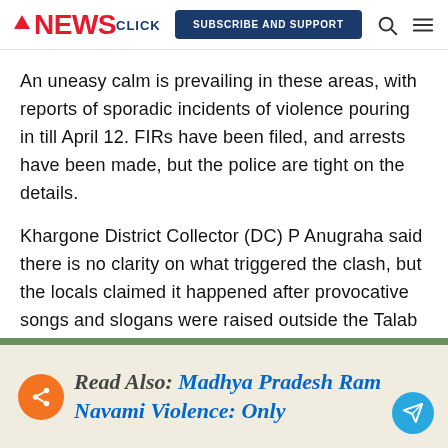NEWSclick | SUBSCRIBE AND SUPPORT
An uneasy calm is prevailing in these areas, with reports of sporadic incidents of violence pouring in till April 12. FIRs have been filed, and arrests have been made, but the police are tight on the details.
Khargone District Collector (DC) P Anugraha said there is no clarity on what triggered the clash, but the locals claimed it happened after provocative songs and slogans were raised outside the Talab Chowk mosque.
Read Also: Madhya Pradesh Ram Navami Violence: Only